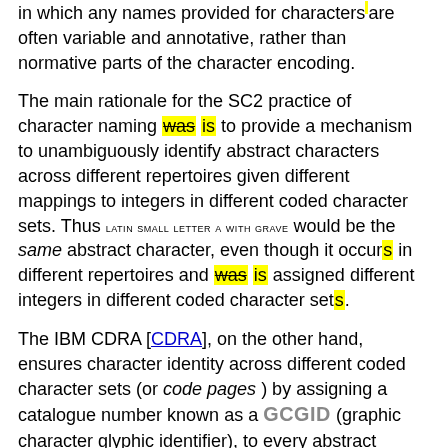in which any names provided for characters are often variable and annotative, rather than normative parts of the character encoding.
The main rationale for the SC2 practice of character naming was is to provide a mechanism to unambiguously identify abstract characters across different repertoires given different mappings to integers in different coded character sets. Thus LATIN SMALL LETTER A WITH GRAVE would be the same abstract character, even though it occurs in different repertoires and was is assigned different integers in different coded character sets.
The IBM CDRA [CDRA], on the other hand, ensures character identity across different coded character sets (or code pages) by assigning a catalogue number known as a GCGID (graphic character glyphic identifier), to every abstract character used in any of the repertoires accounted for by the CDRA. Abstract characters that have the same GCGID in two different coded character sets are by definition the same character. Other vendors have made use of similar internal identifier systems for abstract